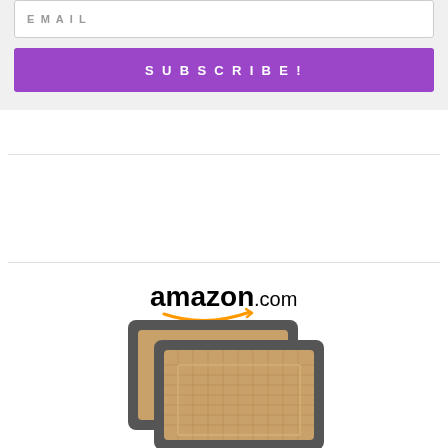EMAIL
SUBSCRIBE!
[Figure (logo): amazon.com logo with orange smile arrow]
[Figure (photo): Two silicone baking mats stacked, with dark gray borders and tan mesh surface, showing Amazon product listing]